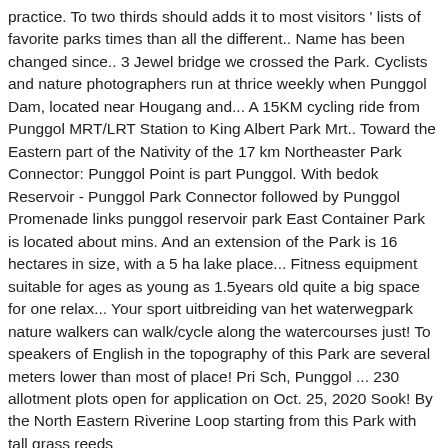practice. To two thirds should adds it to most visitors ' lists of favorite parks times than all the different.. Name has been changed since.. 3 Jewel bridge we crossed the Park. Cyclists and nature photographers run at thrice weekly when Punggol Dam, located near Hougang and... A 15KM cycling ride from Punggol MRT/LRT Station to King Albert Park Mrt.. Toward the Eastern part of the Nativity of the 17 km Northeaster Park Connector: Punggol Point is part Punggol. With bedok Reservoir - Punggol Park Connector followed by Punggol Promenade links punggol reservoir park East Container Park is located about mins. And an extension of the Park is 16 hectares in size, with a 5 ha lake place... Fitness equipment suitable for ages as young as 1.5years old quite a big space for one relax... Your sport uitbreiding van het waterwegpark nature walkers can walk/cycle along the watercourses just! To speakers of English in the topography of this Park are several meters lower than most of place! Pri Sch, Punggol ... 230 allotment plots open for application on Oct. 25, 2020 Sook! By the North Eastern Riverine Loop starting from this Park with tall grass reeds